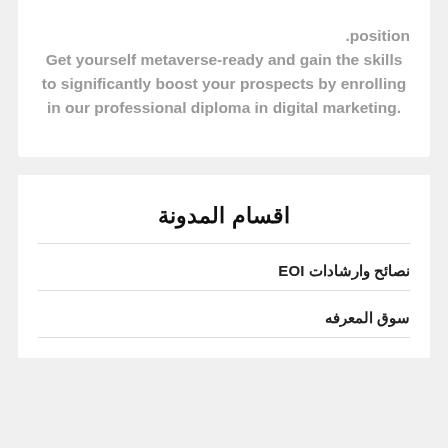.position
Get yourself metaverse-ready and gain the skills to significantly boost your prospects by enrolling in our professional diploma in digital marketing.
اقسام المدونة
نصائح وارشادات EOI
سوق المعرفه